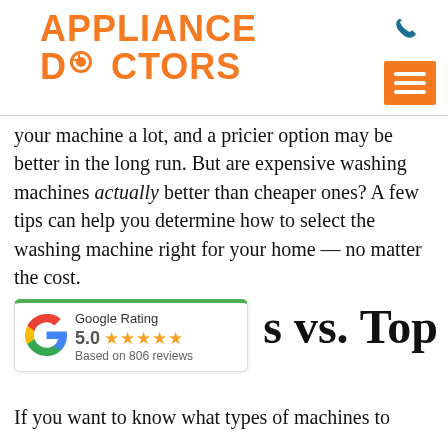[Figure (logo): Appliance Doctors logo in orange bold uppercase text with phone icon and orange menu hamburger icon]
your machine a lot, and a pricier option may be better in the long run. But are expensive washing machines actually better than cheaper ones? A few tips can help you determine how to select the washing machine right for your home — no matter the cost.
[Figure (infographic): Google Rating widget showing 5.0 stars based on 806 reviews, with green top border and Google G logo]
s vs. Top
If you want to know what types of machines to